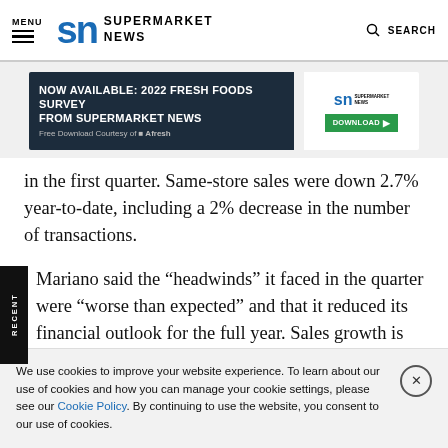MENU | SN SUPERMARKET NEWS | SEARCH
[Figure (screenshot): Advertisement banner: NOW AVAILABLE: 2022 FRESH FOODS SURVEY FROM SUPERMARKET NEWS - Free Download Courtesy of Afresh, with vegetable imagery and SN Supermarket News logo with Download button]
in the first quarter. Same-store sales were down 2.7% year-to-date, including a 2% decrease in the number of transactions.
Mariano said the “headwinds” it faced in the quarter were “worse than expected” and that it reduced its financial outlook for the full year. Sales growth is now projected to be about 1%
We use cookies to improve your website experience. To learn about our use of cookies and how you can manage your cookie settings, please see our Cookie Policy. By continuing to use the website, you consent to our use of cookies.